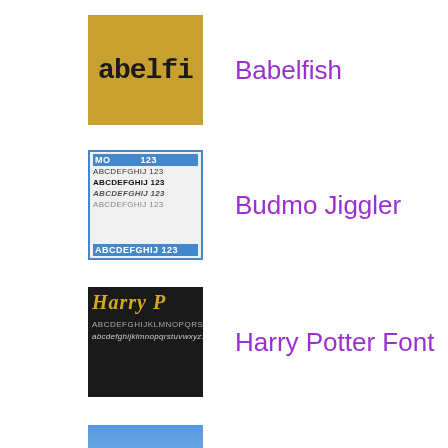[Figure (screenshot): Thumbnail image for Babelfish font showing the word 'abelfi' in dark bold letters on an orange/yellow background]
Babelfish
[Figure (screenshot): Thumbnail image for Budmo Jiggler font showing multiple rows of 'ABCDEFGHIJ 123' text in different styles with blue header and footer bars]
Budmo Jiggler
[Figure (screenshot): Thumbnail image for Harry Potter Font showing 'Harry P' styled text in gold on dark background]
Harry Potter Font
[Figure (screenshot): Thumbnail image for Air Balloon font showing 'MF Air Balloon' text in white on blue sky background]
Air Balloon
[Figure (screenshot): Thumbnail image for A Thousand Years font showing cursive text on purple gradient background]
A Thousand Years